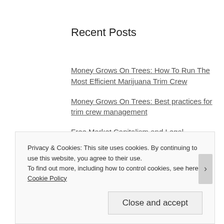Recent Posts
Money Grows On Trees: How To Run The Most Efficient Marijuana Trim Crew
Money Grows On Trees: Best practices for trim crew management
Free Market Capitalism and Legal Marijuana: The Final Push
The Most Expensive Strain in the World
Mona Wilder: Utah's Fiercest Drag Queen
Privacy & Cookies: This site uses cookies. By continuing to use this website, you agree to their use.
To find out more, including how to control cookies, see here: Cookie Policy
Close and accept